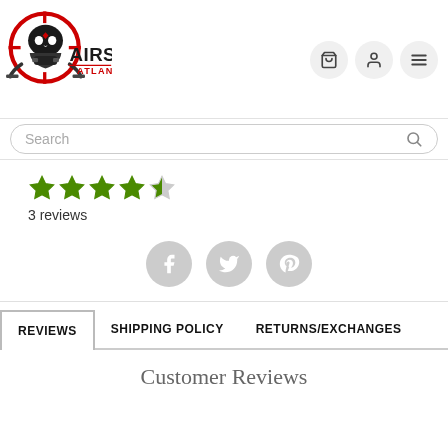[Figure (logo): Airsoft Atlanta logo: skull with crosshairs and gas mask in red/black, with AIRSOFT ATLANTA text]
[Figure (infographic): Navigation icons: shopping cart, user profile, hamburger menu in light gray circles]
Search
[Figure (infographic): 4 green filled stars and 1 half star rating display]
3 reviews
[Figure (infographic): Social sharing icons: Facebook, Twitter, Pinterest in gray circles]
REVIEWS
SHIPPING POLICY
RETURNS/EXCHANGES
Customer Reviews